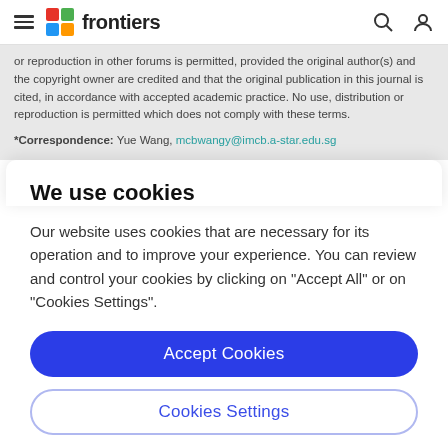frontiers
or reproduction in other forums is permitted, provided the original author(s) and the copyright owner are credited and that the original publication in this journal is cited, in accordance with accepted academic practice. No use, distribution or reproduction is permitted which does not comply with these terms.
*Correspondence: Yue Wang, mcbwangy@imcb.a-star.edu.sg
We use cookies
Our website uses cookies that are necessary for its operation and to improve your experience. You can review and control your cookies by clicking on "Accept All" or on "Cookies Settings".
Accept Cookies
Cookies Settings